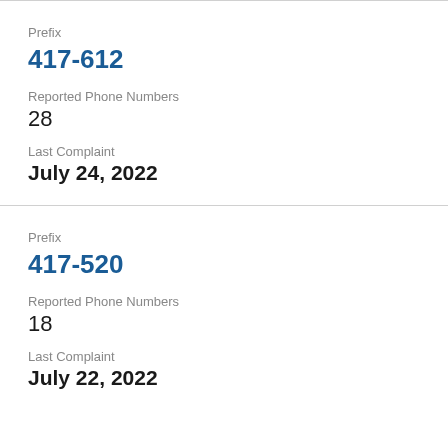Prefix
417-612
Reported Phone Numbers
28
Last Complaint
July 24, 2022
Prefix
417-520
Reported Phone Numbers
18
Last Complaint
July 22, 2022